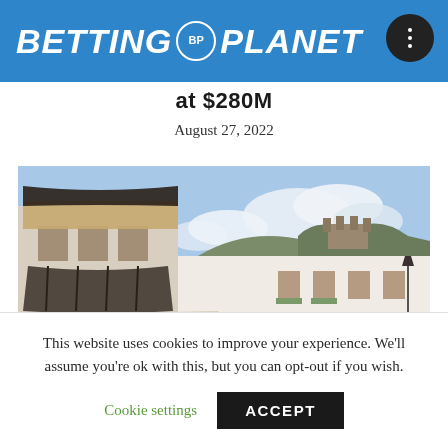BETTING BP PLANET
at $280M
August 27, 2022
[Figure (photo): Street scene of a historic Ottoman-style town with ornate ironwork balconies, white buildings, carpet shops, and a hillside castle or fortress visible in the background under a partly cloudy sky.]
This website uses cookies to improve your experience. We'll assume you're ok with this, but you can opt-out if you wish.
Cookie settings   ACCEPT